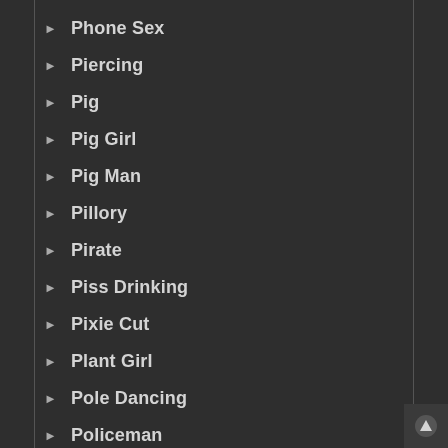Phone Sex
Piercing
Pig
Pig Girl
Pig Man
Pillory
Pirate
Piss Drinking
Pixie Cut
Plant Girl
Pole Dancing
Policeman
Policewoman